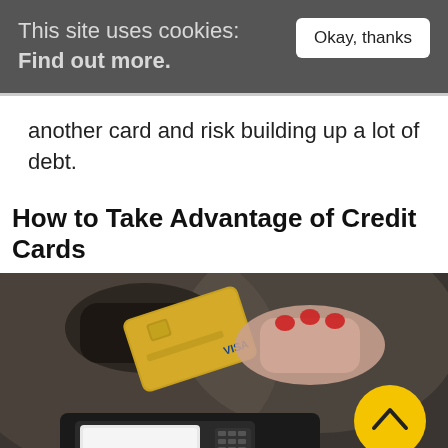This site uses cookies: Find out more.
another card and risk building up a lot of debt.
How to Take Advantage of Credit Cards
[Figure (photo): Two hands exchanging a gold Visa credit card over a payment terminal/card reader, with a yellow circular scroll-up button overlaid in the bottom right of the image.]